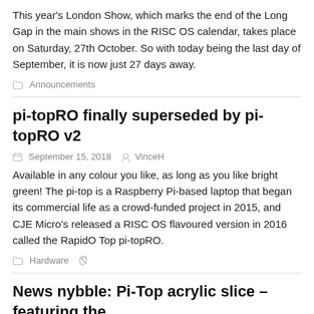This year's London Show, which marks the end of the Long Gap in the main shows in the RISC OS calendar, takes place on Saturday, 27th October. So with today being the last day of September, it is now just 27 days away.
📁 Announcements
pi-topRO finally superseded by pi-topRO v2
September 15, 2018   VinceH
Available in any colour you like, as long as you like bright green! The pi-top is a Raspberry Pi-based laptop that began its commercial life as a crowd-funded project in 2015, and CJE Micro's released a RISC OS flavoured version in 2016 called the RapidO Top pi-topRO.
📁 Hardware  🏷
News nybble: Pi-Top acrylic slice – featuring the